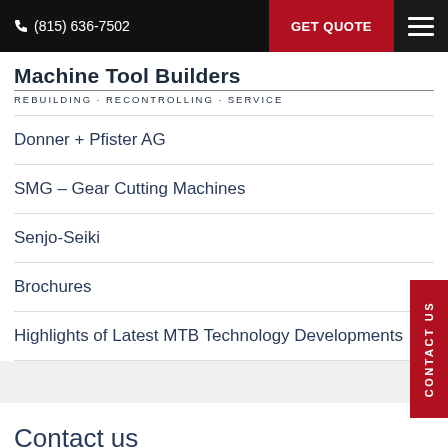(815) 636-7502 | GET QUOTE
Machine Tool Builders
REBUILDING · RECONTROLLING · SERVICE
Donner + Pfister AG
SMG – Gear Cutting Machines
Senjo-Seiki
Brochures
Highlights of Latest MTB Technology Developments
Contact us
(815) 636-7502